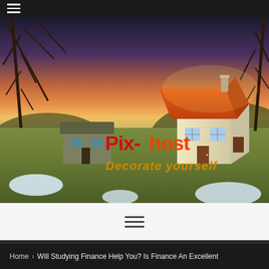Navigation menu (hamburger icon)
[Figure (photo): Landscape photo showing a scenic outdoor scene with bare trees, golden grass, snow patches, a thatched-roof house, and a colorful sunset sky. Overlaid with the Pix-host logo (red and orange text) and tagline 'Decorate yourself' in yellow-orange, plus a 3D house illustration with an orange roof.]
[Figure (other): Hamburger menu icon (three horizontal lines) centered on a light gray background bar]
Home > Will Studying Finance Help You? Is Finance An Excellent